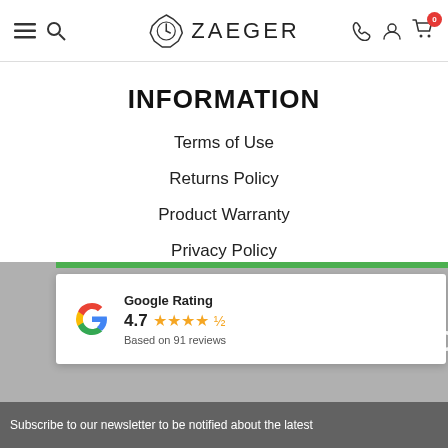ZAEGER — navigation header with hamburger, search, phone, account, and cart icons
INFORMATION
Terms of Use
Returns Policy
Product Warranty
Privacy Policy
Shipping
Security Policy
[Figure (other): Google Rating badge: 4.7 stars based on 91 reviews, with Google G logo and orange stars. Beside a footer banner showing '#freshdrops' text and newsletter subscription bar.]